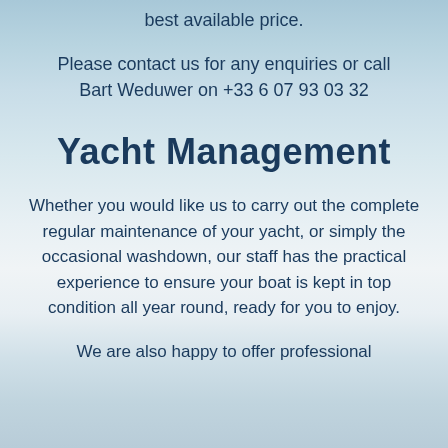best available price.
Please contact us for any enquiries or call Bart Weduwer on +33 6 07 93 03 32
Yacht Management
Whether you would like us to carry out the complete regular maintenance of your yacht, or simply the occasional washdown, our staff has the practical experience to ensure your boat is kept in top condition all year round, ready for you to enjoy.
We are also happy to offer professional